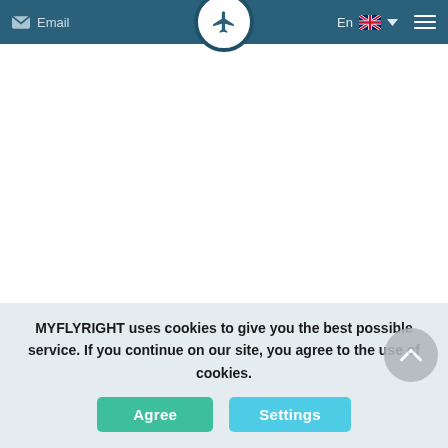Email | En [UK flag] ☰
[Figure (screenshot): White content area — page body with image/map obscured]
César Manrique-Lanzarote Airport is an international airpo...
Spain. It is 5 km southwest from Arrecife, the capital of Lan...
MYFLYRIGHT uses cookies to give you the best possible service. If you continue on our site, you agree to the use of cookies.
Agree   Settings